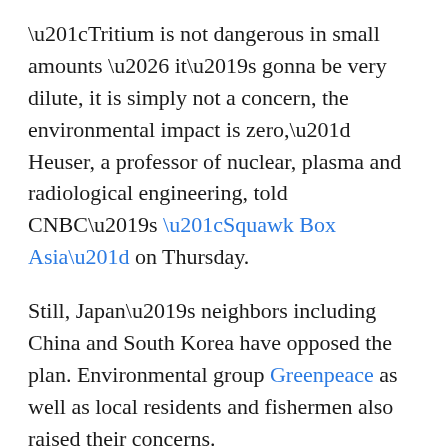“Tritium is not dangerous in small amounts … it’s gonna be very dilute, it is simply not a concern, the environmental impact is zero,” Heuser, a professor of nuclear, plasma and radiological engineering, told CNBC’s “Squawk Box Asia” on Thursday.
Still, Japan’s neighbors including China and South Korea have opposed the plan. Environmental group Greenpeace as well as local residents and fishermen also raised their concerns.
South Korea summoned the Japanese ambassador in Seoul and is reportedly exploring ways to fight Japan’s decision in an international court.
Over in China, the foreign ministry criticized Japan in a statement for “unilaterally” deciding to release the